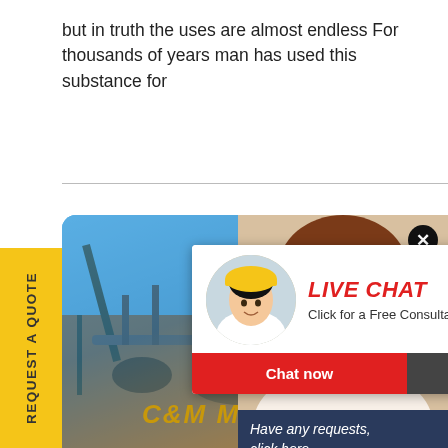but in truth the uses are almost endless For thousands of years man has used this substance for
[Figure (screenshot): Screenshot of a website with a yellow sidebar tab reading 'REQUEST A QUOTE' and a blue banner with an industrial background. A live chat popup shows workers in hard hats with text 'LIVE CHAT - Click for a Free Consultation' and buttons 'Chat now' and 'Chat later'. A right-side popup shows a female agent with a headset, text 'Have any requests, click here.' and a 'Quotation' button. The banner shows 'C&M M' text at the bottom.]